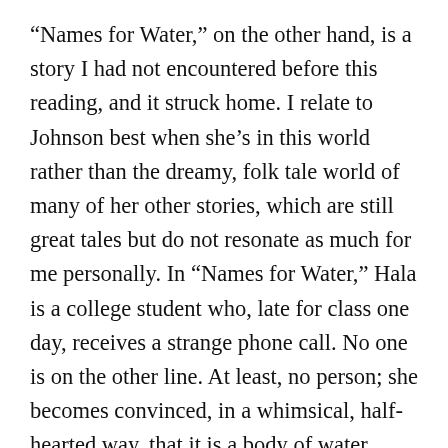“Names for Water,” on the other hand, is a story I had not encountered before this reading, and it struck home. I relate to Johnson best when she’s in this world rather than the dreamy, folk tale world of many of her other stories, which are still great tales but do not resonate as much for me personally. In “Names for Water,” Hala is a college student who, late for class one day, receives a strange phone call. No one is on the other line. At least, no person; she becomes convinced, in a whimsical, half-hearted way, that it is a body of water calling her, and if she can name it, it will speak back to her. It’s a subtle, unassuming story about finding your life’s passion that grabs you by the throat with its conclusion.